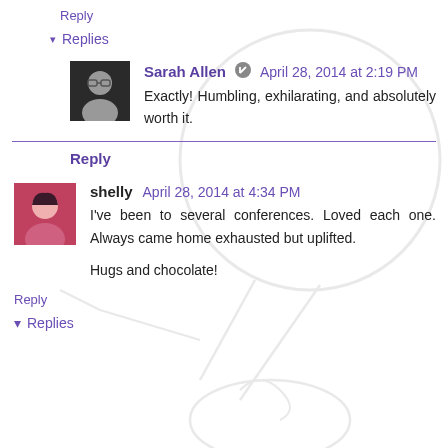Reply
▾  Replies
Sarah Allen  April 28, 2014 at 2:19 PM
Exactly! Humbling, exhilarating, and absolutely worth it.
Reply
shelly  April 28, 2014 at 4:34 PM
I've been to several conferences. Loved each one. Always came home exhausted but uplifted.

Hugs and chocolate!
Reply
▾  Replies